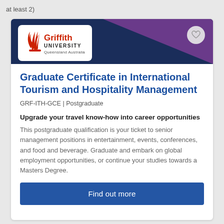at least 2)
[Figure (logo): Griffith University Queensland Australia logo — red flame/wheat icon with bold red 'Griffith' and black 'UNIVERSITY' text, 'Queensland Australia' below]
Graduate Certificate in International Tourism and Hospitality Management
GRF-ITH-GCE | Postgraduate
Upgrade your travel know-how into career opportunities
This postgraduate qualification is your ticket to senior management positions in entertainment, events, conferences, and food and beverage. Graduate and embark on global employment opportunities, or continue your studies towards a Masters Degree.
Find out more